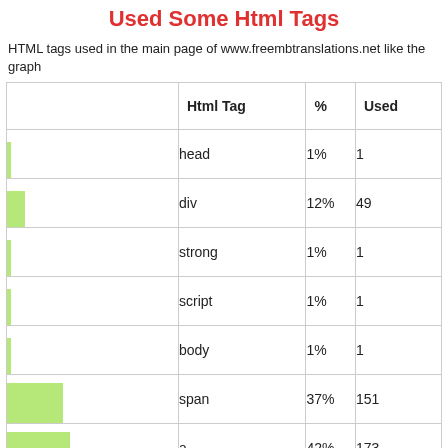Used Some Html Tags
HTML tags used in the main page of www.freembtranslations.net like the graph
|  | Html Tag | % | Used |
| --- | --- | --- | --- |
| [bar: head 1%] | head | 1% | 1 |
| [bar: div 12%] | div | 12% | 49 |
| [bar: strong 1%] | strong | 1% | 1 |
| [bar: script 1%] | script | 1% | 1 |
| [bar: body 1%] | body | 1% | 1 |
| [bar: span 37%] | span | 37% | 151 |
| [bar: a 42%] | a | 42% | 173 |
| [bar: ul 3%] | ul | 3% | 9 |
| [bar: h2 3%] | h2 | 3% | 11 |